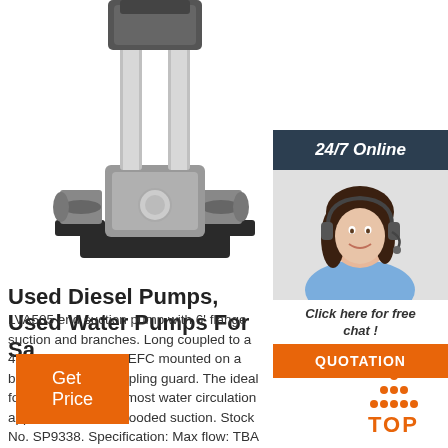[Figure (photo): Industrial stainless steel end suction pump with black flanged base and connections, vertical orientation, on white background]
[Figure (photo): 24/7 Online chat widget with dark header, woman with headset, 'Click here for free chat!' text, and orange QUOTATION button]
Used Diesel Pumps, Used Water Pumps For Sa
LVA505 end suction pump with 6' flange suction and branches. Long coupled to a 45kw, 4pole, 415v TEFC mounted on a base frame with coupling guard. The ideal for cooling loops or most water circulation applications with a flooded suction. Stock No. SP9338. Specification: Max flow: TBA Max head: TBA
[Figure (other): Orange 'Get Price' button]
[Figure (other): Orange TOP navigation button with triangular dots icon]